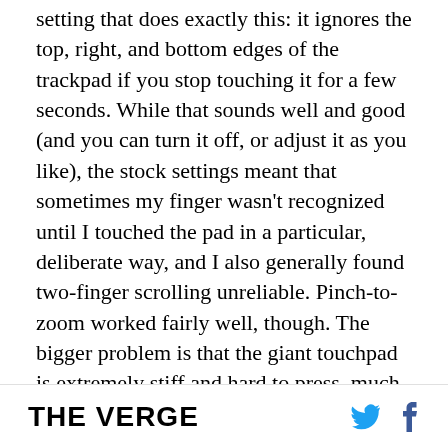setting that does exactly this: it ignores the top, right, and bottom edges of the trackpad if you stop touching it for a few seconds. While that sounds well and good (and you can turn it off, or adjust it as you like), the stock settings meant that sometimes my finger wasn't recognized until I touched the pad in a particular, deliberate way, and I also generally found two-finger scrolling unreliable. Pinch-to-zoom worked fairly well, though. The bigger problem is that the giant touchpad is extremely stiff and hard to press, much harder than the MacBook Pro or most other laptop I've used. I often had to press hard enough that my finger would slide along the surface, in fact, making highlighting text extremely
THE VERGE